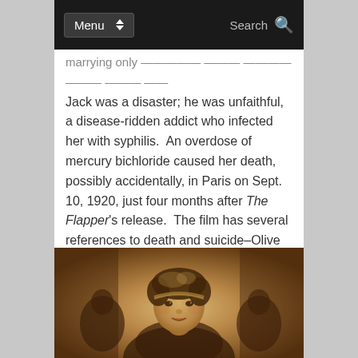Menu | Search
marrying only... Jack was a disaster; he was unfaithful, a disease-ridden addict who infected her with syphilis. An overdose of mercury bichloride caused her death, possibly accidentally, in Paris on Sept. 10, 1920, just four months after The Flapper's release. The film has several references to death and suicide–Olive comically tries to hang herself–and intertitles feature a drawing of a tombstone. The title helped popularize the term flapper, a young woman of unconventional dress and manner, as she was.
[Figure (photo): Sepia-toned photograph of a young woman with short curly hair wearing a headband, smiling at the camera, with other people visible in the background at what appears to be a party or social gathering.]